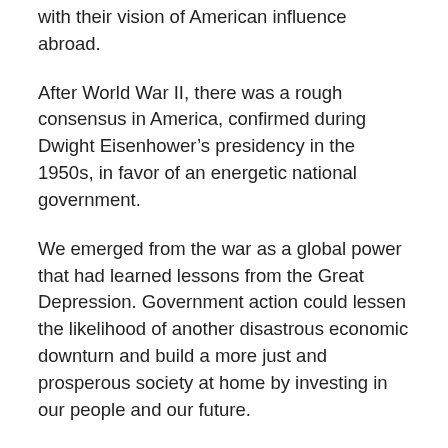with their vision of American influence abroad.
After World War II, there was a rough consensus in America, confirmed during Dwight Eisenhower’s presidency in the 1950s, in favor of an energetic national government.
We emerged from the war as a global power that had learned lessons from the Great Depression. Government action could lessen the likelihood of another disastrous economic downturn and build a more just and prosperous society at home by investing in our people and our future.
Thus did the Marshall Plan and the GI Bill go hand in hand. The Marshall Plan eased Western Europe’s recovery from the devastation of war, thereby protecting friendly governments and opening new markets for American goods. The GI Bill educated a generation of